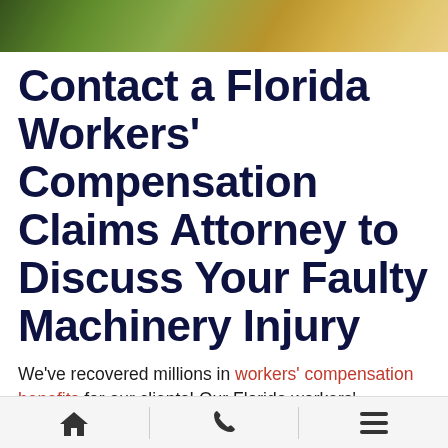[Figure (photo): Partial photo banner at top of page showing outdoor/nature scene with green and golden tones]
Contact a Florida Workers' Compensation Claims Attorney to Discuss Your Faulty Machinery Injury
We've recovered millions in workers' compensation benefits for our clients! Our Florida workers' compensation claims attorneys have more than 45 years
Home | Phone | Menu navigation bar